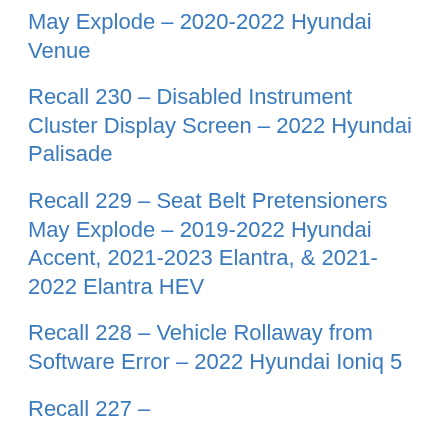May Explode – 2020-2022 Hyundai Venue
Recall 230 – Disabled Instrument Cluster Display Screen – 2022 Hyundai Palisade
Recall 229 – Seat Belt Pretensioners May Explode – 2019-2022 Hyundai Accent, 2021-2023 Elantra, & 2021-2022 Elantra HEV
Recall 228 – Vehicle Rollaway from Software Error – 2022 Hyundai Ioniq 5
Recall 227 – …